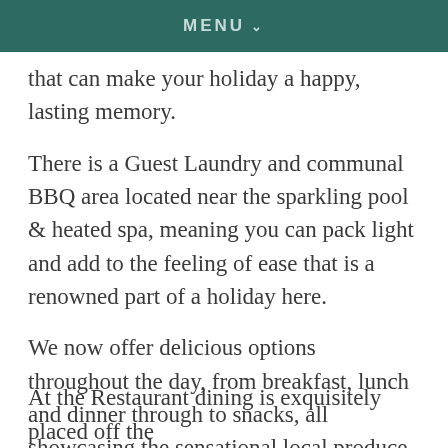MENU
that can make your holiday a happy, lasting memory.
There is a Guest Laundry and communal BBQ area located near the sparkling pool & heated spa, meaning you can pack light and add to the feeling of ease that is a renowned part of a holiday here.
We now offer delicious options throughout the day, from breakfast, lunch and dinner through to snacks, all showcasing the sensational local produce where available.
At the Restaurant dining is exquisitely placed off the